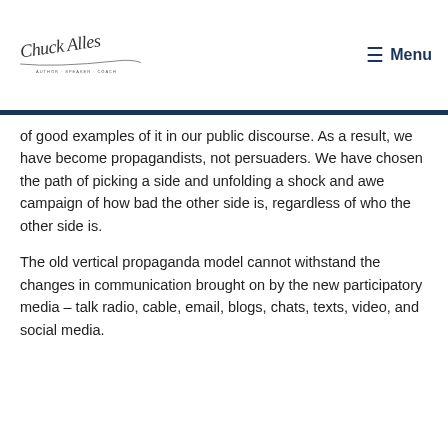Chuck Alles — Author · Speaker · Coach | Menu
of good examples of it in our public discourse. As a result, we have become propagandists, not persuaders. We have chosen the path of picking a side and unfolding a shock and awe campaign of how bad the other side is, regardless of who the other side is.
The old vertical propaganda model cannot withstand the changes in communication brought on by the new participatory media – talk radio, cable, email, blogs, chats, texts, video, and social media.